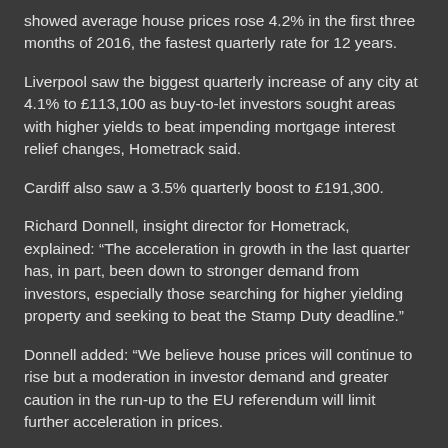showed average house prices rose 4.2% in the first three months of 2016, the fastest quarterly rate for 12 years.
Liverpool saw the biggest quarterly increase of any city at 4.1% to £113,100 as buy-to-let investors sought areas with higher yields to beat impending mortgage interest relief changes, Hometrack said.
Cardiff also saw a 3.5% quarterly boost to £191,300.
Richard Donnell, insight director for Hometrack, explained: “The acceleration in growth in the last quarter has, in part, been down to stronger demand from investors, especially those searching for higher yielding property and seeking to beat the Stamp Duty deadline.”
Donnell added: “We believe house prices will continue to rise but a moderation in investor demand and greater caution in the run-up to the EU referendum will limit further acceleration in prices.